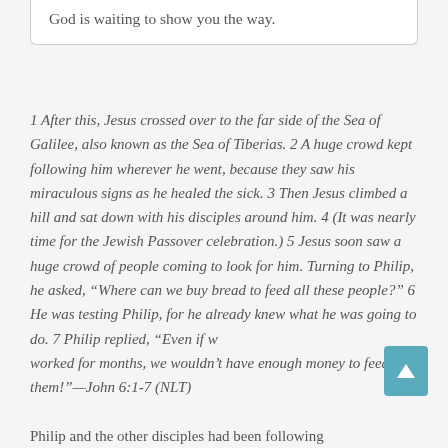God is waiting to show you the way.
1 After this, Jesus crossed over to the far side of the Sea of Galilee, also known as the Sea of Tiberias. 2 A huge crowd kept following him wherever he went, because they saw his miraculous signs as he healed the sick. 3 Then Jesus climbed a hill and sat down with his disciples around him. 4 (It was nearly time for the Jewish Passover celebration.) 5 Jesus soon saw a huge crowd of people coming to look for him. Turning to Philip, he asked, “Where can we buy bread to feed all these people?” 6 He was testing Philip, for he already knew what he was going to do. 7 Philip replied, “Even if we worked for months, we wouldn’t have enough money to feed them!”—John 6:1-7 (NLT)
Philip and the other disciples had been following